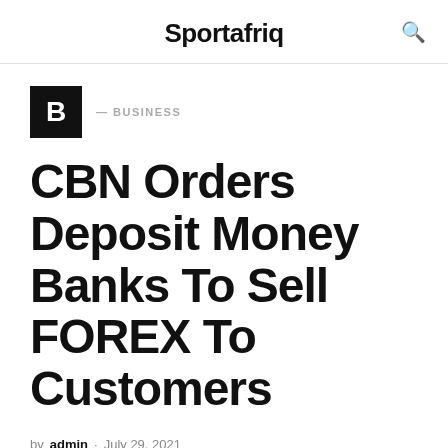Sportafriq
BUSINESS
CBN Orders Deposit Money Banks To Sell FOREX To Customers
by admin · July 29, 2021